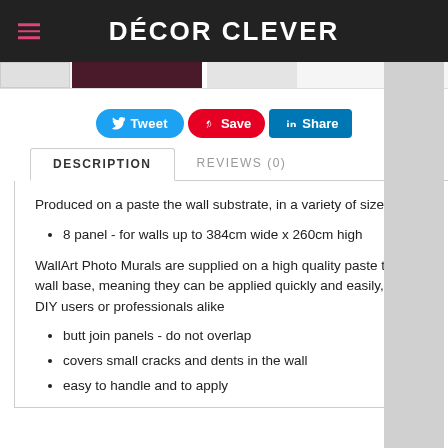DÉCOR CLEVER
[Figure (screenshot): Thumbnail navigation strip showing product images]
[Figure (infographic): Social share buttons: Tweet, Save, Share]
DESCRIPTION | REVIEWS (0)
Produced on a paste the wall substrate, in a variety of sizes;
8 panel - for walls up to 384cm wide x 260cm high
WallArt Photo Murals are supplied on a high quality paste the wall base, meaning they can be applied quickly and easily, by DIY users or professionals alike
butt join panels - do not overlap
covers small cracks and dents in the wall
easy to handle and to apply